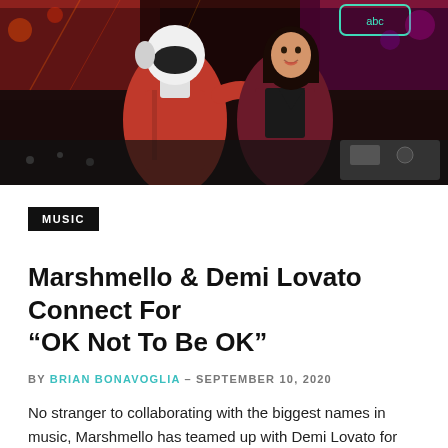[Figure (photo): Two people posing together at a concert/music event. One wearing a red jacket and white helmet/mask, the other a woman in a dark top and maroon velvet jacket. Colorful stage lights in background.]
MUSIC
Marshmello & Demi Lovato Connect For “OK Not To Be OK”
BY BRIAN BONAVOGLIA – SEPTEMBER 10, 2020
No stranger to collaborating with the biggest names in music, Marshmello has teamed up with Demi Lovato for “OK Not…
Read More